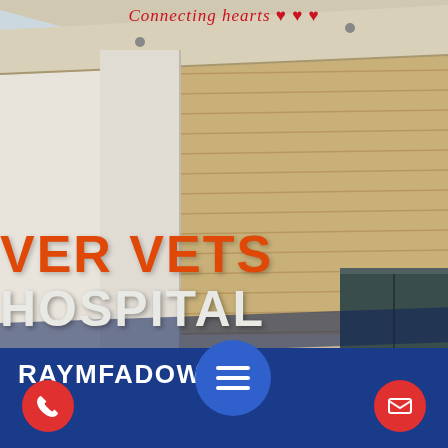[Figure (photo): Exterior of a veterinary hospital building with wooden siding gable roof, cream-colored stucco walls, and building sign reading 'VER VETS HOSPITAL' in orange and white letters. A glass door/window is visible on the right side.]
Connecting hearts ♥ ♥ ♥
VER VETS HOSPITAL
RAYMFADOWS
[Figure (other): Blue circle with hamburger menu icon (three horizontal white lines)]
[Figure (other): Red circle with phone icon]
[Figure (other): Red circle with email/envelope icon]